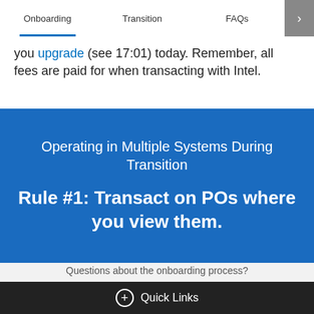Onboarding | Transition | FAQs
you upgrade (see 17:01) today. Remember, all fees are paid for when transacting with Intel.
Operating in Multiple Systems During Transition
Rule #1: Transact on POs where you view them.
Questions about the onboarding process?
+ Quick Links
Ariba Sign In